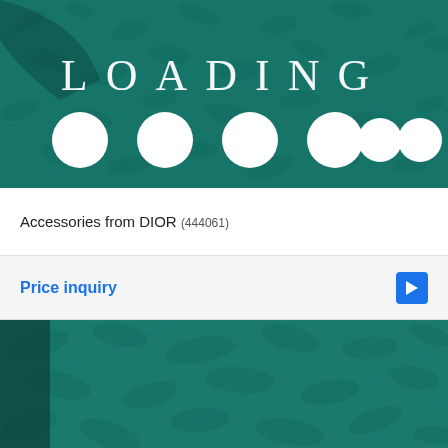[Figure (photo): Close-up photo of dark teal/green textured leather surface with a loading screen overlay showing the word LOADING in spaced white serif letters and six white circles below it, resembling a loading indicator animation]
Accessories from DIOR (444061)
Price inquiry
[Figure (photo): Close-up photo of dark teal/green textured leather surface showing pebbled grain texture detail]